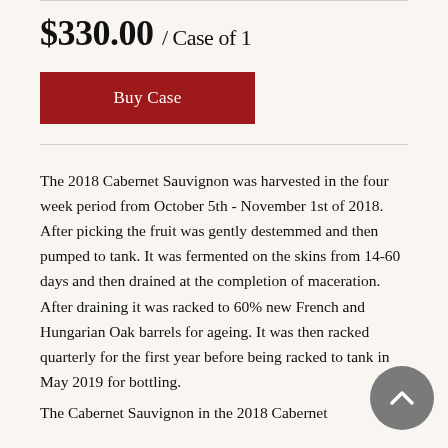$330.00 / Case of 1
Buy Case
The 2018 Cabernet Sauvignon was harvested in the four week period from October 5th - November 1st of 2018.  After picking the fruit was gently destemmed and then pumped to tank.  It was fermented on the skins from 14-60 days and then drained at the completion of maceration.  After draining it was racked to 60% new French and Hungarian Oak barrels for ageing.  It was then racked quarterly for the first year before being racked to tank in May 2019 for bottling.
The Cabernet Sauvignon in the 2018 Cabernet